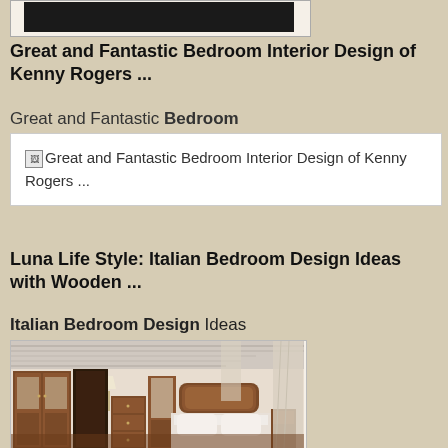[Figure (photo): Black rectangle representing top of image card for Kenny Rogers bedroom interior design]
Great and Fantastic Bedroom Interior Design of Kenny Rogers ...
Great and Fantastic Bedroom
[Figure (photo): Broken image placeholder with alt text: Great and Fantastic Bedroom Interior Design of Kenny Rogers ...]
Luna Life Style: Italian Bedroom Design Ideas with Wooden ...
Italian Bedroom Design Ideas
[Figure (photo): Photo of an Italian bedroom with wooden furniture including wardrobe, dresser, and bed frame with white bedding, coffered ceiling with wooden beams, long white curtains]